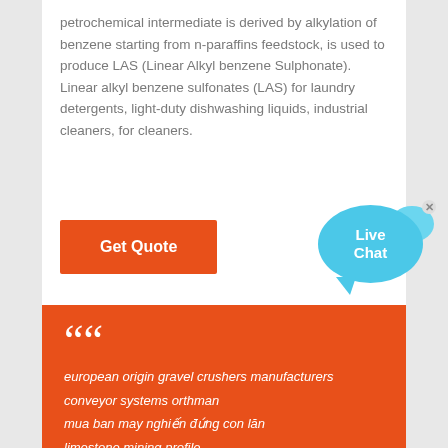petrochemical intermediate is derived by alkylation of benzene starting from n-paraffins feedstock, is used to produce LAS (Linear Alkyl benzene Sulphonate). Linear alkyl benzene sulfonates (LAS) for laundry detergents, light-duty dishwashing liquids, industrial cleaners, for cleaners.
[Figure (other): Orange 'Get Quote' button on white background]
[Figure (other): Live Chat speech bubble widget in blue, with close X button]
european origin gravel crushers manufacturers
conveyor systems orthman
mua ban may nghiến đứng con lăn
limestone mining profile